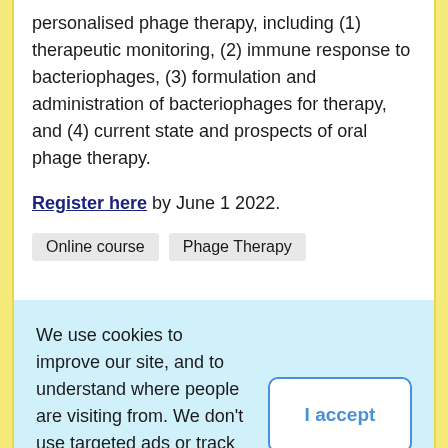personalised phage therapy, including (1) therapeutic monitoring, (2) immune response to bacteriophages, (3) formulation and administration of bacteriophages for therapy, and (4) current state and prospects of oral phage therapy.
Register here by June 1 2022.
Online course   Phage Therapy
We use cookies to improve our site, and to understand where people are visiting from. We don't use targeted ads or track personal information. Read our site policies here.
through a problem? Or provide second set